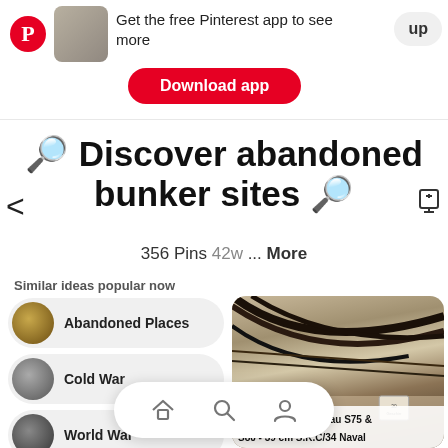[Figure (screenshot): Pinterest app top bar with logo, thumbnail, 'Get the free Pinterest app to see more' text, Download app button, and sign up button]
🔍 Discover abandoned bunker sites 🔍
356 Pins 42w ... More
Similar ideas popular now
Abandoned Places
Cold War
World War
[Figure (photo): Interior photo of bunker/military structure showing curved metal beams and ceiling structure]
Atlanticwall Regelbau S75 & S80 - 39 cm S.K.C/34 Naval